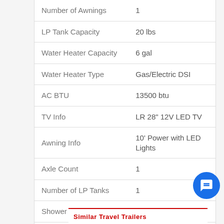| Specification | Value |
| --- | --- |
| Number of Awnings | 1 |
| LP Tank Capacity | 20 lbs |
| Water Heater Capacity | 6 gal |
| Water Heater Type | Gas/Electric DSI |
| AC BTU | 13500 btu |
| TV Info | LR 28" 12V LED TV |
| Awning Info | 10' Power with LED Lights |
| Axle Count | 1 |
| Number of LP Tanks | 1 |
| Shower Type | Standard |